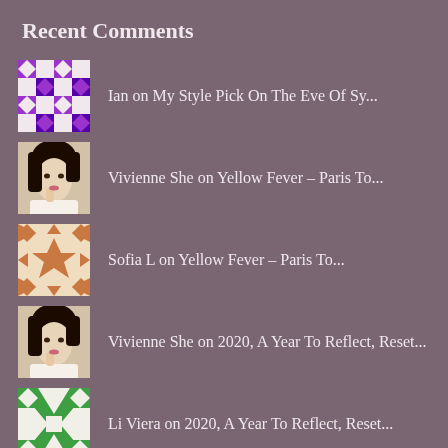Recent Comments
Ian on My Style Pick On The Eve Of Sy...
Vivienne She on Yellow Fever – Paris To...
Sofia L on Yellow Fever – Paris To...
Vivienne She on 2020, A Year To Reflect, Reset...
Li Viera on 2020, A Year To Reflect, Reset...
kentojohnson on My 'No Khaki' Safa...
Vivienne Shui on 2019, Marking My 30 Years Of M...